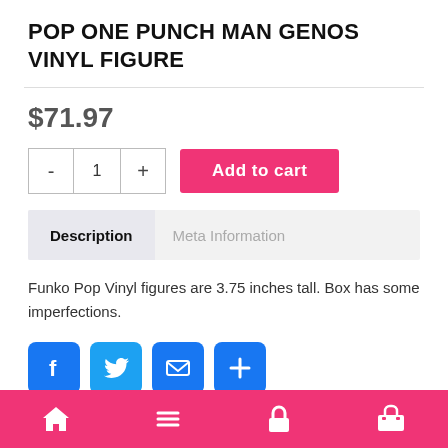POP ONE PUNCH MAN GENOS VINYL FIGURE
$71.97
Add to cart
Description	Meta Information
Funko Pop Vinyl figures are 3.75 inches tall. Box has some imperfections.
[Figure (screenshot): Social share icons: Facebook, Twitter, Email, and a plus/share button, all in blue rounded squares]
Home | Menu | Lock | Cart navigation bar